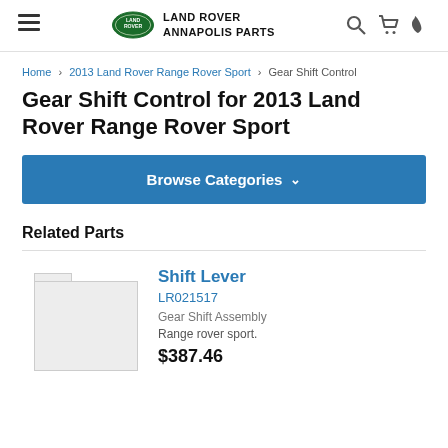Land Rover Annapolis Parts
Home > 2013 Land Rover Range Rover Sport > Gear Shift Control
Gear Shift Control for 2013 Land Rover Range Rover Sport
Browse Categories
Related Parts
[Figure (photo): Placeholder image for Shift Lever part]
Shift Lever
LR021517
Gear Shift Assembly
Range rover sport.
$387.46